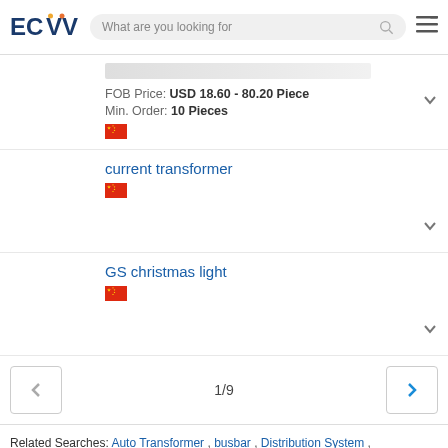ECVV | What are you looking for
FOB Price: USD 18.60 - 80.20 Piece
Min. Order: 10 Pieces
current transformer
GS christmas light
1/9
Related Searches: Auto Transformer , busbar , Distribution System , Electric Transformer , Isolation Transformer